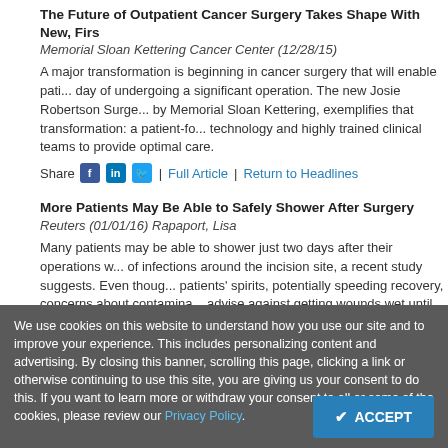The Future of Outpatient Cancer Surgery Takes Shape With New, Firs...
Memorial Sloan Kettering Cancer Center (12/28/15)
A major transformation is beginning in cancer surgery that will enable patients to go home the same day of undergoing a significant operation. The new Josie Robertson Surgery Center, recently opened by Memorial Sloan Kettering, exemplifies that transformation: a patient-focused facility that uses technology and highly trained clinical teams to provide optimal care.
Share | Full Article | Return to Headlines
More Patients May Be Able to Safely Shower After Surgery
Reuters (01/01/16) Rapaport, Lisa
Many patients may be able to shower just two days after their operations without increasing the risk of infections around the incision site, a recent study suggests. Even though bathing can lift patients' spirits, potentially speeding recovery, concerns about contamination lead many physicians to advise against getting wounds wet until stitches are removed, which can take up to two or more weeks.
Share | Full Article | Return to Headlines
We use cookies on this website to understand how you use our site and to improve your experience. This includes personalizing content and advertising. By closing this banner, scrolling this page, clicking a link or otherwise continuing to use this site, you are giving us your consent to do this. If you want to learn more or withdraw your consent to all or some of the cookies, please review our Privacy Policy.